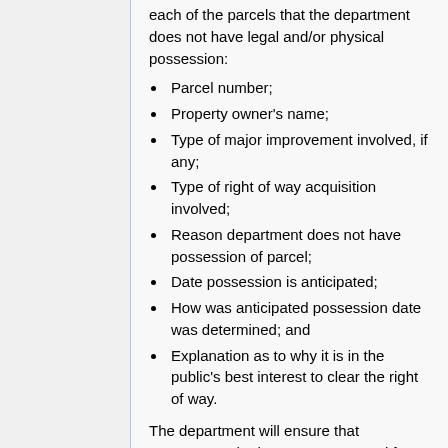each of the parcels that the department does not have legal and/or physical possession:
Parcel number;
Property owner's name;
Type of major improvement involved, if any;
Type of right of way acquisition involved;
Reason department does not have possession of parcel;
Date possession is anticipated;
How was anticipated possession date was determined; and
Explanation as to why it is in the public's best interest to clear the right of way.
The department will ensure that occupants, who have not yet moved from the right of way, will be protected